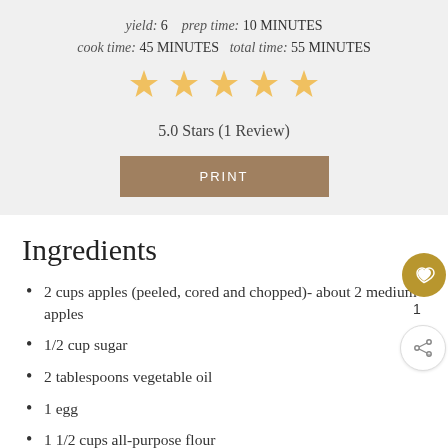yield: 6   prep time: 10 MINUTES
cook time: 45 MINUTES   total time: 55 MINUTES
[Figure (other): Five gold stars rating display]
5.0 Stars (1 Review)
PRINT
Ingredients
2 cups apples (peeled, cored and chopped)- about 2 medium apples
1/2 cup sugar
2 tablespoons vegetable oil
1 egg
1 1/2 cups all-purpose flour
1 1/2 teaspoons baking powder
1/2 teaspoon baking soda